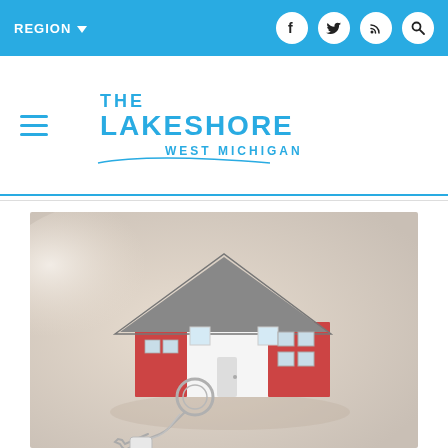REGION ▾
[Figure (logo): The Lakeshore West Michigan logo with hamburger menu icon]
[Figure (photo): A miniature model house with a dark roof and red/white walls, sitting on a surface next to house keys on a keychain, soft focus background]